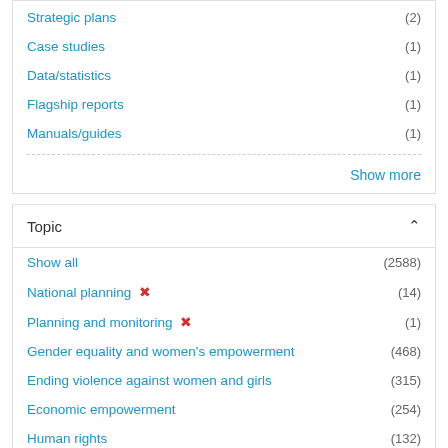Strategic plans (2)
Case studies (1)
Data/statistics (1)
Flagship reports (1)
Manuals/guides (1)
Show more
Topic
Show all (2588)
National planning ✕ (14)
Planning and monitoring ✕ (1)
Gender equality and women's empowerment (468)
Ending violence against women and girls (315)
Economic empowerment (254)
Human rights (132)
COVID-19 (124)
Peace and security (117)